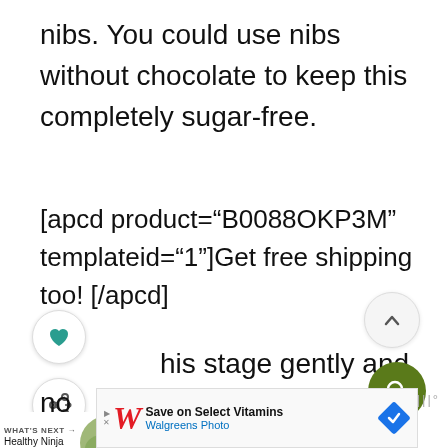nibs. You could use nibs without chocolate to keep this completely sugar-free.
[apcd product="B0088OKP3M" templateid="1"]Get free shipping too! [/apcd]
his stage gently and pulse little by little. We want the nibs mixed in and
[Figure (screenshot): UI overlay: heart/like button (white circle), share button (white circle), chevron-up button (light grey circle), search button (dark green circle with magnifier icon)]
[Figure (screenshot): What's Next bar with thumbnail image of Healthy Ninja Creami Dole... article]
[Figure (screenshot): Walgreens advertisement banner: Save on Select Vitamins - Walgreens Photo, with blue diamond navigation icon]